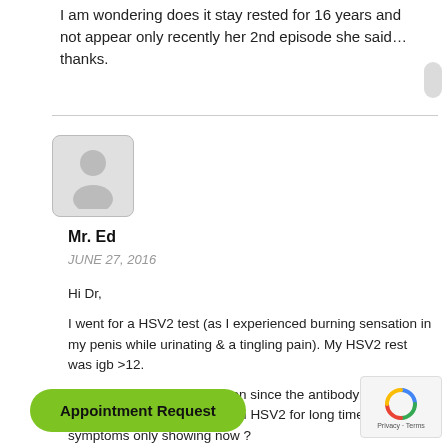I am wondering does it stay rested for 16 years and not appear only recently her 2nd episode she said… thanks.
Mr. Ed
JUNE 27, 2016
Hi Dr,

I went for a HSV2 test (as I experienced burning sensation in my penis while urinating & a tingling pain). My HSV2 rest was igb >12.

My question is, do you reckon since the antibody amount is high I have been infected with HSV2 for long time and the symptoms only showing now ?